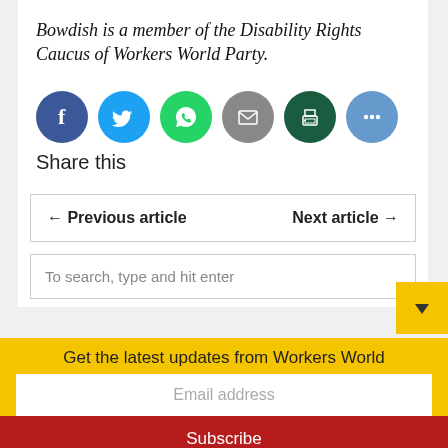Bowdish is a member of the Disability Rights Caucus of Workers World Party.
[Figure (infographic): Six social sharing icons: Facebook (dark blue circle), Twitter (light blue circle), WhatsApp (green circle), Email (grey circle), Print (dark green circle), More/ellipsis (light blue circle). Below icons: 'Share this' label.]
← Previous article    Next article →
To search, type and hit enter
Defend workers' rights, build
Get the latest updates from Workers World
Email address
Subscribe